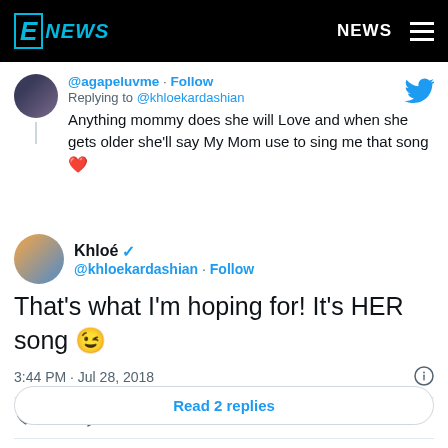[Figure (screenshot): E! News website header navigation bar with E! News logo and NEWS menu button]
@agapeluvme · Follow
Replying to @khloekardashian
Anything mommy does she will Love and when she gets older she'll say My Mom use to sing me that song ❤
Khloé ✓ @khloekardashian · Follow
That's what I'm hoping for! It's HER song 😉
3:44 PM · Jul 28, 2018
♡ 16   Reply   Copy link
Read 2 replies